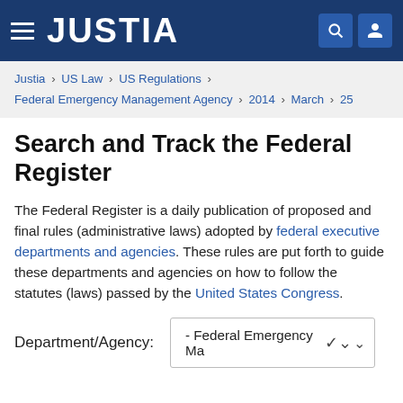JUSTIA
Justia › US Law › US Regulations › Federal Emergency Management Agency › 2014 › March › 25
Search and Track the Federal Register
The Federal Register is a daily publication of proposed and final rules (administrative laws) adopted by federal executive departments and agencies. These rules are put forth to guide these departments and agencies on how to follow the statutes (laws) passed by the United States Congress.
Department/Agency: - Federal Emergency Ma